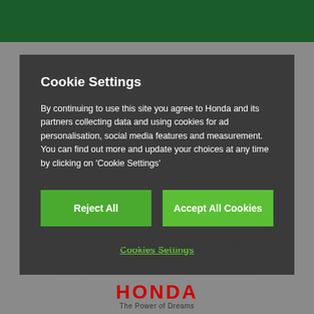Cookie Settings
By continuing to use this site you agree to Honda and its partners collecting data and using cookies for ad personalisation, social media features and measurement. You can find out more and update your choices at any time by clicking on 'Cookie Settings'
Reject All
Accept All Cookies
Cookies Settings
Contact us   Terms and conditions   Privacy notice
Careers   Sitemap   Honda dealers
More products from Honda   Cookie Settings
[Figure (logo): Honda logo with 'HONDA' in red bold letters and 'The Power of Dreams' tagline below]